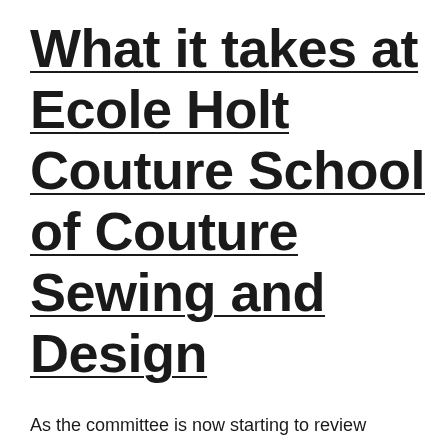What it takes at Ecole Holt Couture School of Couture Sewing and Design
As the committee is now starting to review